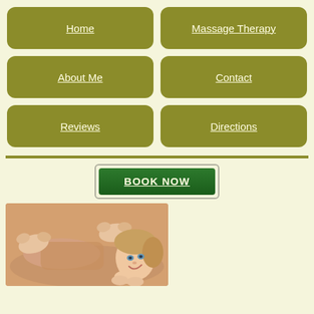Home
Massage Therapy
About Me
Contact
Reviews
Directions
BOOK NOW
[Figure (photo): Woman receiving a back massage, smiling, lying down with hands massaging her back and shoulders]